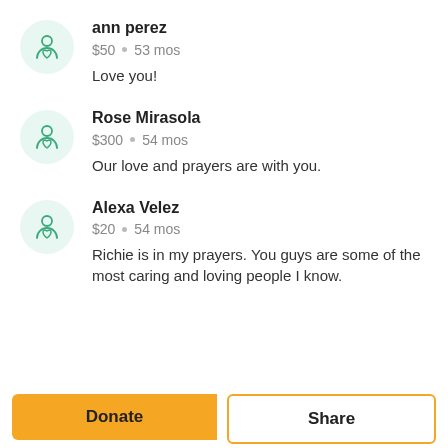ann perez · $50 · 53 mos · Love you!
Rose Mirasola · $300 · 54 mos · Our love and prayers are with you.
Alexa Velez · $20 · 54 mos · Richie is in my prayers. You guys are some of the most caring and loving people I know.